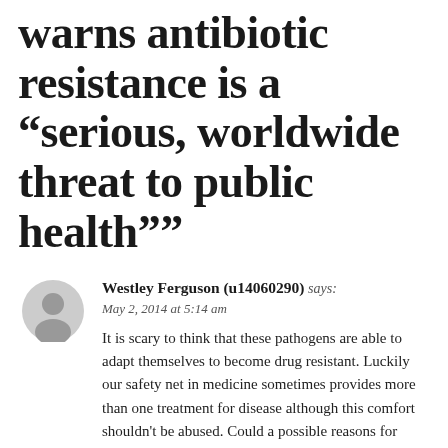warns antibiotic resistance is a “serious, worldwide threat to public health””
Westley Ferguson (u14060290) says: May 2, 2014 at 5:14 am
It is scary to think that these pathogens are able to adapt themselves to become drug resistant. Luckily our safety net in medicine sometimes provides more than one treatment for disease although this comfort shouldn’t be abused. Could a possible reasons for these pathogens becoming drug resistant be the